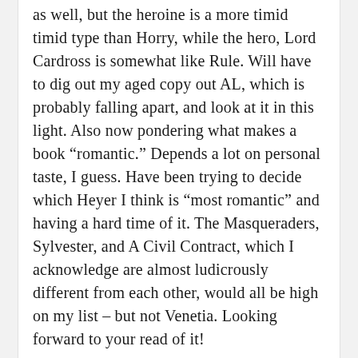as well, but the heroine is a more timid timid type than Horry, while the hero, Lord Cardross is somewhat like Rule. Will have to dig out my aged copy out AL, which is probably falling apart, and look at it in this light. Also now pondering what makes a book “romantic.” Depends a lot on personal taste, I guess. Have been trying to decide which Heyer I think is “most romantic” and having a hard time of it. The Masqueraders, Sylvester, and A Civil Contract, which I acknowledge are almost ludicrously different from each other, would all be high on my list – but not Venetia. Looking forward to your read of it!
Like